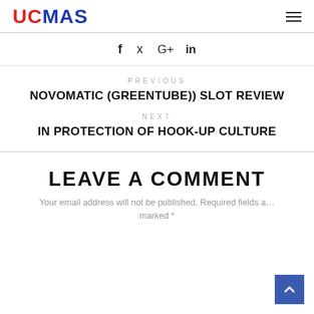UCMAS
f  ✦  G+  in
PREVIOUS
NOVOMATIC (GREENTUBE)) SLOT REVIEW
NEXT
IN PROTECTION OF HOOK-UP CULTURE
LEAVE A COMMENT
Your email address will not be published. Required fields are marked *